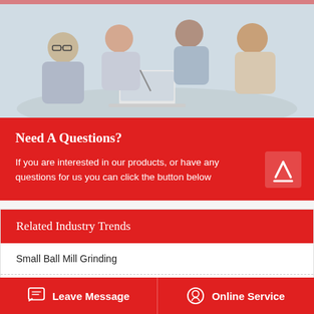[Figure (photo): Business meeting photo showing professionals around a conference table with a laptop, in an office setting.]
Need A Questions?
If you are interested in our products, or have any questions for us you can click the button below
Related Industry Trends
Small Ball Mill Grinding
Refiner Wet Ball Mill
Leave Message  |  Online Service